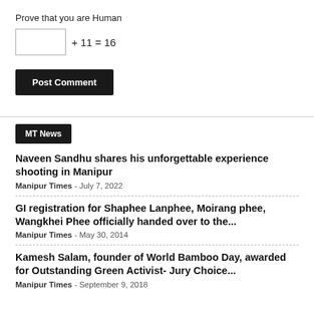Prove that you are Human
+ 11 = 16
Post Comment
MT News
Naveen Sandhu shares his unforgettable experience shooting in Manipur
Manipur Times - July 7, 2022
GI registration for Shaphee Lanphee, Moirang phee, Wangkhei Phee officially handed over to the...
Manipur Times - May 30, 2014
Kamesh Salam, founder of World Bamboo Day, awarded for Outstanding Green Activist- Jury Choice...
Manipur Times - September 9, 2018